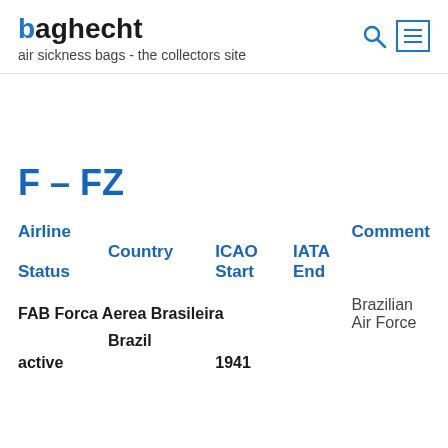baghecht - air sickness bags - the collectors site
F – FZ
| Airline | Comment | Country | ICAO | IATA | Status | Start | End |
| --- | --- | --- | --- | --- | --- | --- | --- |
| FAB Forca Aerea Brasileira | Brazilian Air Force | Brazil |  |  | active | 1941 |  |